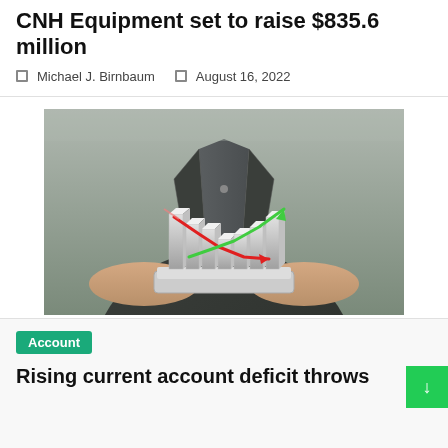CNH Equipment set to raise $835.6 million
Michael J. Birnbaum   August 16, 2022
[Figure (photo): Person in dark suit holding a 3D bar chart with red downward arrow and green upward arrow overlaid]
Account
Rising current account deficit throws...